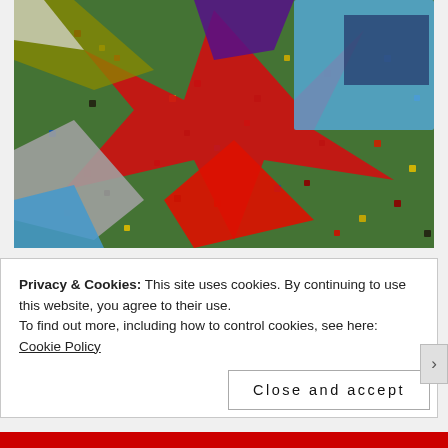[Figure (photo): Close-up photograph of a colorful patchwork quilt with star/bowtie pattern pieces in red, blue, gray, yellow, and purple on a green dotted fabric background]
Privacy & Cookies: This site uses cookies. By continuing to use this website, you agree to their use.
To find out more, including how to control cookies, see here: Cookie Policy
Close and accept